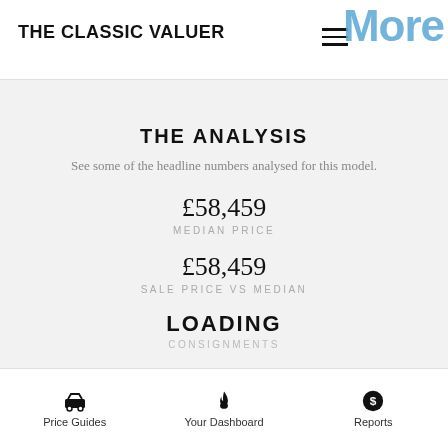THE CLASSIC VALUER
THE ANALYSIS
See some of the headline numbers analysed for this model.
£58,459
MEDIAN PRICE
£58,459
SALE PRICE VS MEDIAN
LOADING
CONSIGNMENTS
Price Guides   Your Dashboard   Reports